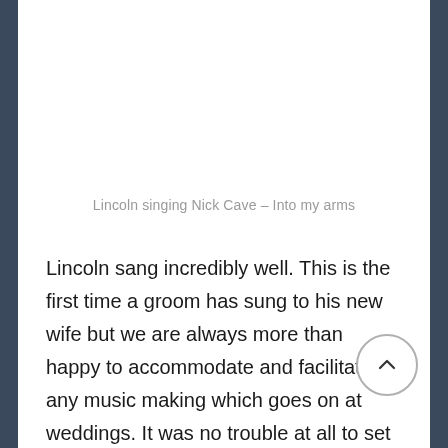Lincoln singing Nick Cave – Into my arms
Lincoln sang incredibly well. This is the first time a groom has sung to his new wife but we are always more than happy to accommodate and facilitate any music making which goes on at weddings. It was no trouble at all to set microphone connected to our adaptable Bose Speaker – this also turned out to be useful for the celebrant in the second ceremony!